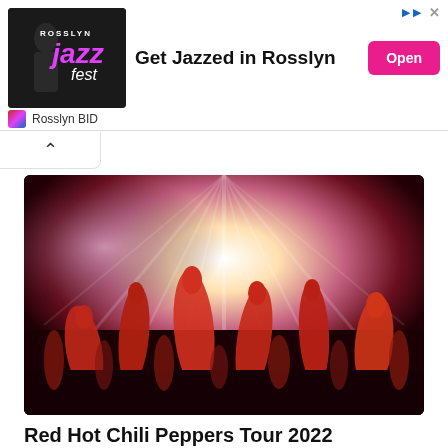[Figure (other): Advertisement banner for Rosslyn Jazz Fest with text 'Get Jazzed in Rosslyn', an Open button, and Rosslyn BID sponsor label]
[Figure (photo): Concert crowd photo with raised hands silhouetted against bright stage lights, red-toned lighting]
Red Hot Chili Peppers Tour 2022 [LiveStream] at